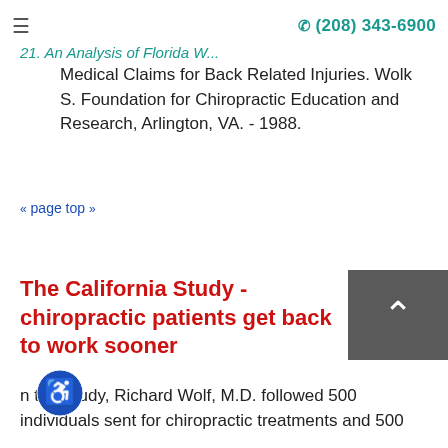≡   ✆ (208) 343-6900
21. An Analysis of Florida Workers Medical Claims for Back Related Injuries. Wolk S. Foundation for Chiropractic Education and Research, Arlington, VA. - 1988.
« page top »
The California Study - chiropractic patients get back to work sooner
In this study, Richard Wolf, M.D. followed 500 individuals sent for chiropractic treatments and 500